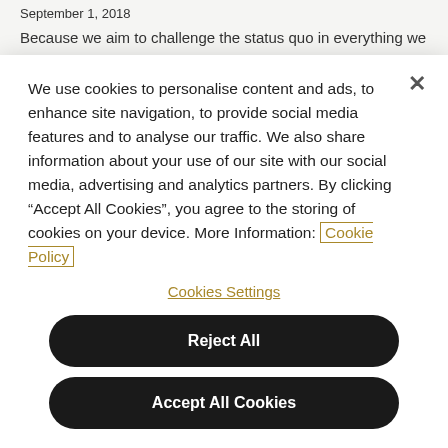September 1, 2018
Because we aim to challenge the status quo in everything we
We use cookies to personalise content and ads, to enhance site navigation, to provide social media features and to analyse our traffic. We also share information about your use of our site with our social media, advertising and analytics partners. By clicking “Accept All Cookies”, you agree to the storing of cookies on your device. More Information: Cookie Policy
Cookies Settings
Reject All
Accept All Cookies